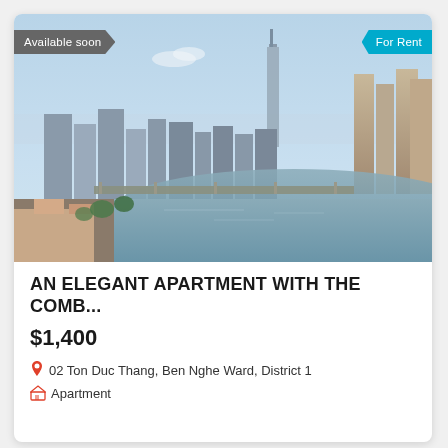[Figure (photo): Aerial cityscape photo of Ho Chi Minh City showing skyline, river, bridges, and dense urban development with tall skyscrapers in background]
AN ELEGANT APARTMENT WITH THE COMB...
$1,400
02 Ton Duc Thang, Ben Nghe Ward, District 1
Apartment